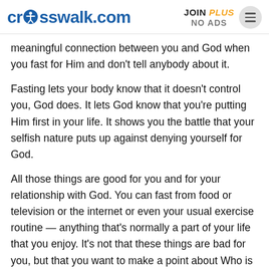crosswalk.com | JOIN PLUS NO ADS
meaningful connection between you and God when you fast for Him and don’t tell anybody about it.
Fasting lets your body know that it doesn’t control you, God does. It lets God know that you’re putting Him first in your life. It shows you the battle that your selfish nature puts up against denying yourself for God.
All those things are good for you and for your relationship with God. You can fast from food or television or the internet or even your usual exercise routine — anything that’s normally a part of your life that you enjoy. It’s not that these things are bad for you, but that you want to make a point about Who is first in your life. When you do, He’ll reward you.